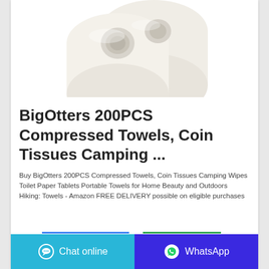[Figure (photo): Two rolls of white compressed towels/coin tissues on white background, viewed from a slight angle showing the roll ends and tube cores]
BigOtters 200PCS Compressed Towels, Coin Tissues Camping ...
Buy BigOtters 200PCS Compressed Towels, Coin Tissues Camping Wipes Toilet Paper Tablets Portable Towels for Home Beauty and Outdoors Hiking: Towels - Amazon FREE DELIVERY possible on eligible purchases
Chat online | WhatsApp